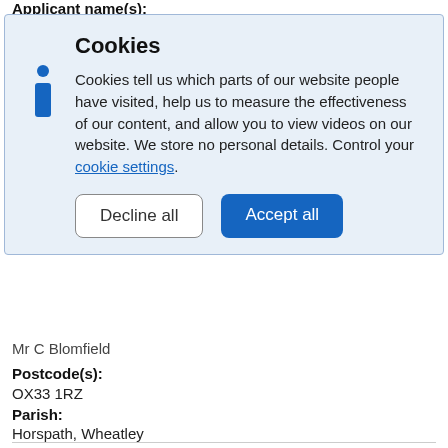Applicant name(s):
[Figure (screenshot): Cookie consent banner with blue background, info icon, title 'Cookies', descriptive text about cookies, a link to 'cookie settings', and two buttons: 'Decline all' and 'Accept all']
Mr C Blomfield
Postcode(s):
OX33 1RZ
Parish:
Horspath, Wheatley
Horspath - Butts Road to Cuddesdon Road